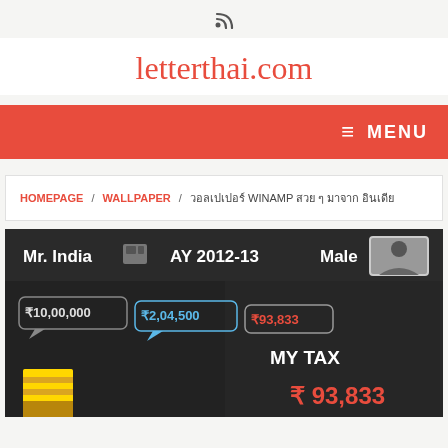RSS feed icon
letterthai.com
MENU
HOMEPAGE / WALLPAPER / วอลเปเปอร์ WINAMP สวย ๆ มาจาก อินเดีย
[Figure (screenshot): Screenshot of a mobile tax calculator app showing Mr. India, AY 2012-13, Male, with amounts ₹10,00,000, ₹2,04,500, ₹93,833 and MY TAX ₹93,833]